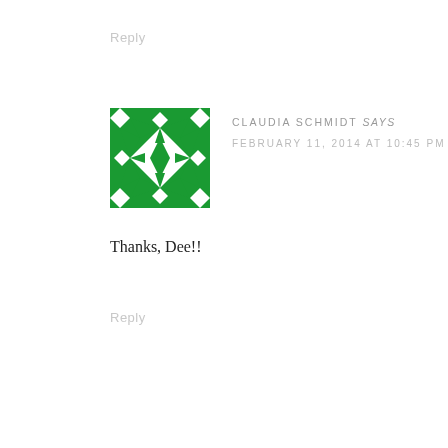Reply
[Figure (illustration): Green and white geometric quilt-pattern avatar square with star/diamond shapes]
CLAUDIA SCHMIDT says
FEBRUARY 11, 2014 AT 10:45 PM
Thanks, Dee!!
Reply